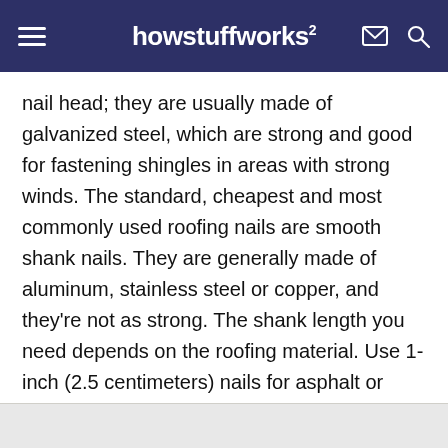howstuffworks
nail head; they are usually made of galvanized steel, which are strong and good for fastening shingles in areas with strong winds. The standard, cheapest and most commonly used roofing nails are smooth shank nails. They are generally made of aluminum, stainless steel or copper, and they're not as strong. The shank length you need depends on the roofing material. Use 1-inch (2.5 centimeters) nails for asphalt or fiberglass shingles; you'll need longer nails for wood shingles, which are thicker.